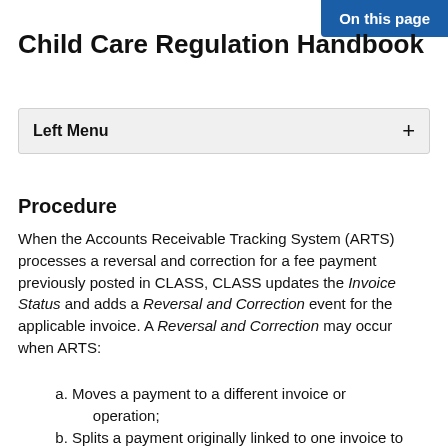On this page
Child Care Regulation Handbook
Left Menu
Procedure
When the Accounts Receivable Tracking System (ARTS) processes a reversal and correction for a fee payment previously posted in CLASS, CLASS updates the Invoice Status and adds a Reversal and Correction event for the applicable invoice. A Reversal and Correction may occur when ARTS:
a. Moves a payment to a different invoice or operation;
b. Splits a payment originally linked to one invoice to